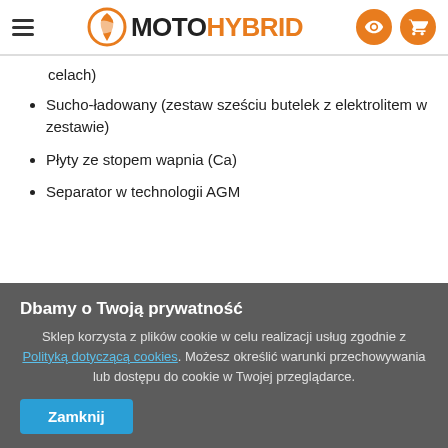MOTOHYBRID
celach)
Sucho-ładowany (zestaw sześciu butelek z elektrolitem w zestawie)
Płyty ze stopem wapnia (Ca)
Separator w technologii AGM
Dbamy o Twoją prywatność
Sklep korzysta z plików cookie w celu realizacji usług zgodnie z Polityką dotyczącą cookies. Możesz określić warunki przechowywania lub dostępu do cookie w Twojej przeglądarce.
Zamknij
Pojemność